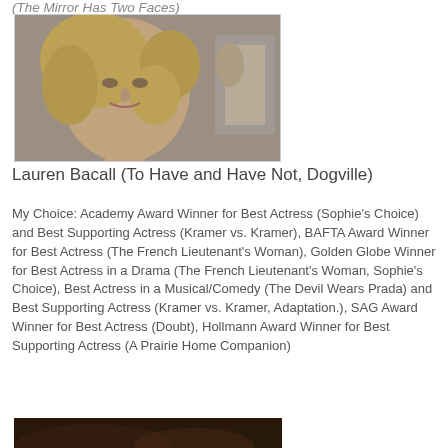(The Mirror Has Two Faces)
[Figure (photo): Woman with curly blonde hair looking into a mirror, black and white/vintage style photo]
Lauren Bacall (To Have and Have Not, Dogville)
My Choice: Academy Award Winner for Best Actress (Sophie's Choice) and Best Supporting Actress (Kramer vs. Kramer), BAFTA Award Winner for Best Actress (The French Lieutenant's Woman), Golden Globe Winner for Best Actress in a Drama (The French Lieutenant's Woman, Sophie's Choice), Best Actress in a Musical/Comedy (The Devil Wears Prada) and Best Supporting Actress (Kramer vs. Kramer, Adaptation.), SAG Award Winner for Best Actress (Doubt), Hollmann Award Winner for Best Supporting Actress (A Prairie Home Companion)
[Figure (photo): Partial photo at bottom of page, dark background]